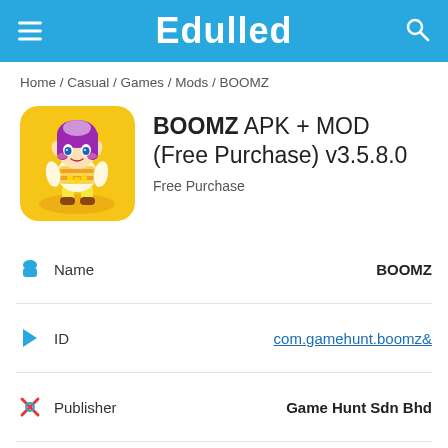Edulled
Home / Casual / Games / Mods / BOOMZ
BOOMZ APK + MOD (Free Purchase) v3.5.8.0
Free Purchase
| Field | Value |
| --- | --- |
| Name | BOOMZ |
| ID | com.gamehunt.boomz& |
| Publisher | Game Hunt Sdn Bhd |
| Genre | Casual |
| MOD Features | Free Purchase |
| Version | 3.5.8.0 |